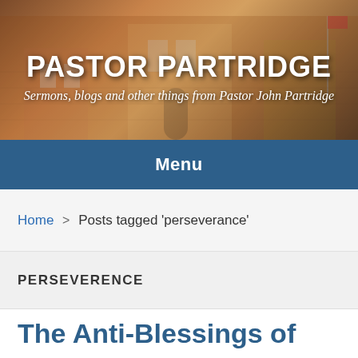[Figure (photo): Header photo of a brick church building with the site title 'PASTOR PARTRIDGE' overlaid in white bold text, and subtitle 'Sermons, blogs and other things from Pastor John Partridge' in white italic text below]
PASTOR PARTRIDGE
Sermons, blogs and other things from Pastor John Partridge
Menu
Home > Posts tagged 'perseverance'
PERSEVERENCE
The Anti-Blessings of